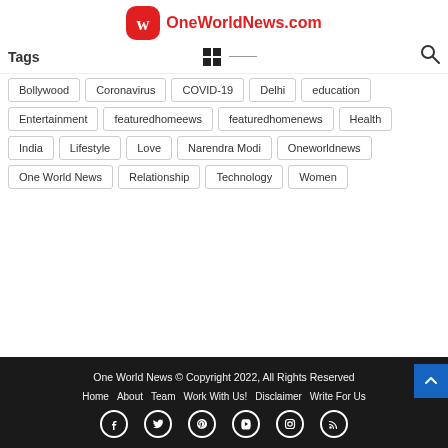[Figure (logo): OneWorldNews.com logo with red rounded square icon and red text]
Tags
Bollywood
Coronavirus
COVID-19
Delhi
education
Entertainment
featuredhomeews
featuredhomenews
Health
India
Lifestyle
Love
Narendra Modi
Oneworldnews
One World News
Relationship
Technology
Women
One World News © Copyright 2022, All Rights Reserved
Home | About | Team | Work With Us! | Disclaimer | Write For Us